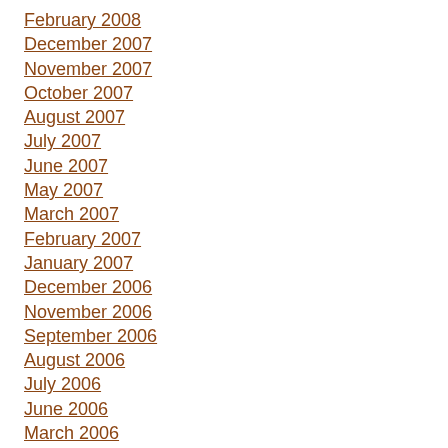February 2008
December 2007
November 2007
October 2007
August 2007
July 2007
June 2007
May 2007
March 2007
February 2007
January 2007
December 2006
November 2006
September 2006
August 2006
July 2006
June 2006
March 2006
January 2006